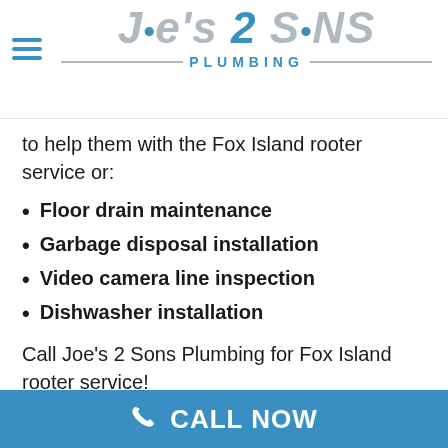Joe's 2 Sons Plumbing
to help them with the Fox Island rooter service or:
Floor drain maintenance
Garbage disposal installation
Video camera line inspection
Dishwasher installation
Call Joe’s 2 Sons Plumbing for Fox Island rooter service!
(253) 533-7038
CALL NOW